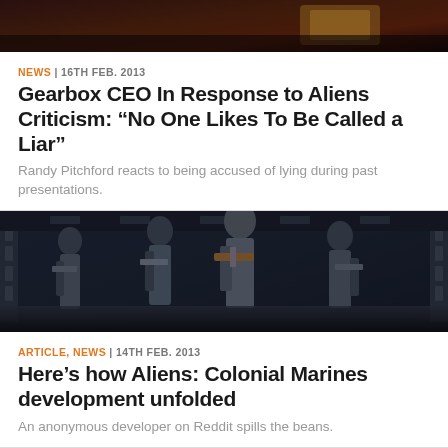[Figure (photo): Top partial image of a dark sci-fi/game scene with reddish tones]
NEWS | 16TH FEB. 2013
Gearbox CEO In Response to Aliens Criticism: “No One Likes To Be Called a Liar”
Randy Pitchford reacts to being accused of lying during past presentations.
[Figure (photo): Colonial Marines game screenshot showing soldiers in a sci-fi corridor with guns]
ARTICLE, NEWS | 14TH FEB. 2013
Here’s how Aliens: Colonial Marines development unfolded
An anonymous developer on Reddit spills the beans.
[Figure (photo): Bottom partial image showing soldiers in a dark sci-fi corridor]